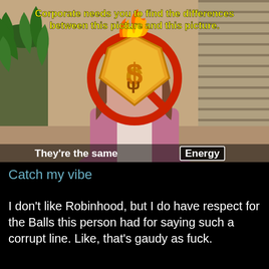[Figure (illustration): A meme from The Office showing a woman in a pink blazer sitting at a desk with a plant and window blinds in the background. Her face is covered by the Robinhood app logo (a stylized bird/shield with a dollar sign, flames on top, crossed out with a red circle and line). Yellow text at the top reads 'Corporate needs you to find the differences between this picture and this picture.' At the bottom of the image, white subtitle text reads "They're the same" and a boxed word 'Energy'.]
Catch my vibe
I don't like Robinhood, but I do have respect for the Balls this person had for saying such a corrupt line. Like, that's gaudy as fuck.